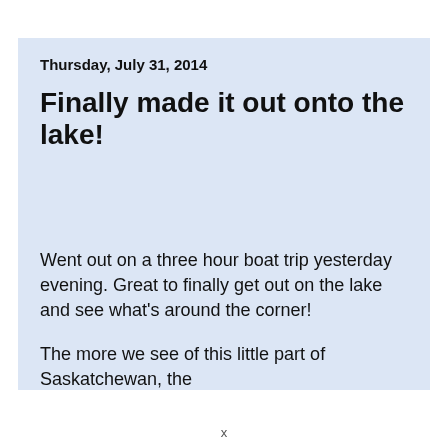Thursday, July 31, 2014
Finally made it out onto the lake!
Went out on a three hour boat trip yesterday evening. Great to finally get out on the lake and see what's around the corner!
The more we see of this little part of Saskatchewan, the